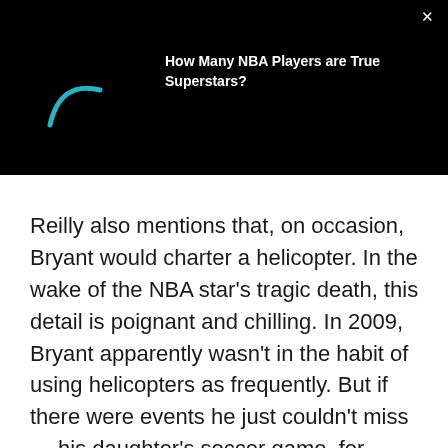[Figure (screenshot): Dark video player overlay with a teal loading spinner arc on the left and a bold white title 'How Many NBA Players are True Superstars?' on the right, with a white X close button in the top right corner.]
Reilly also mentions that, on occasion, Bryant would charter a helicopter. In the wake of the NBA star's tragic death, this detail is poignant and chilling. In 2009, Bryant apparently wasn't in the habit of using helicopters as frequently. But if there were events he just couldn't miss — his daughter's soccer game, for instance — he